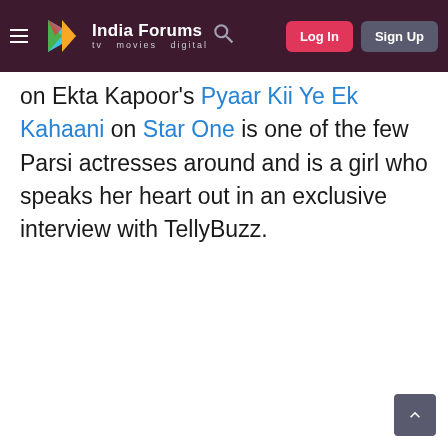India Forums — tv movies digital | Log In | Sign Up
on Ekta Kapoor's Pyaar Kii Ye Ek Kahaani on Star One is one of the few Parsi actresses around and is a girl who speaks her heart out in an exclusive interview with TellyBuzz.